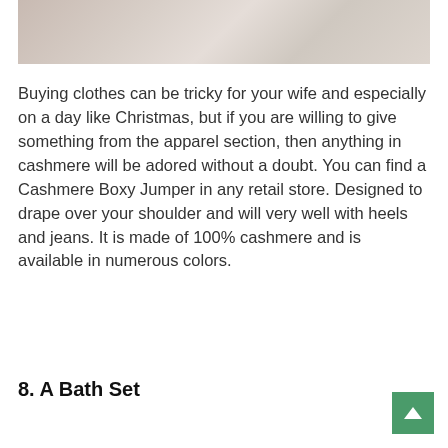[Figure (photo): A partial photograph showing clothing or fashion-related items in muted, light tones]
Buying clothes can be tricky for your wife and especially on a day like Christmas, but if you are willing to give something from the apparel section, then anything in cashmere will be adored without a doubt. You can find a Cashmere Boxy Jumper in any retail store. Designed to drape over your shoulder and will very well with heels and jeans. It is made of 100% cashmere and is available in numerous colors.
8. A Bath Set